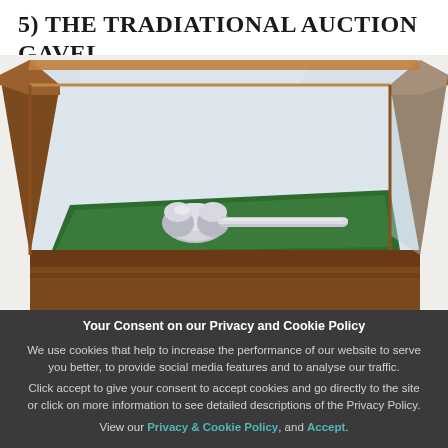5) THE TRADIATIONAL AUCTION GAVEL
[Figure (photo): A silver auction gavel resting on green felt inside a wooden and glass display case, viewed from above at an angle. The case has wooden frame edges and glass panels.]
Your Consent on our Privacy and Cookie Policy
We use cookies that help to increase the performance of our website to serve you better, to provide social media features and to analyse our traffic.
Click accept to give your consent to accept cookies and go directly to the site or click on more information to see detailed descriptions of the Privacy Policy.
View our Privacy & Cookie Policy, and Accept.